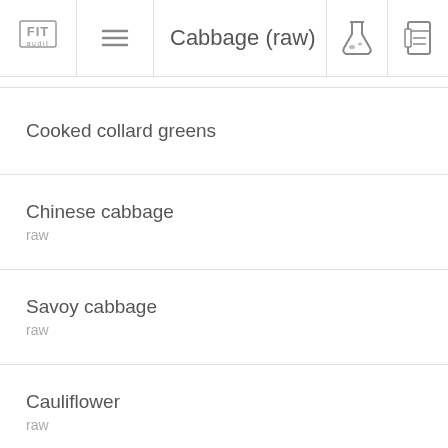FIT audit | ≡ | Cabbage (raw)
Cooked collard greens
Chinese cabbage
raw
Savoy cabbage
raw
Cauliflower
raw